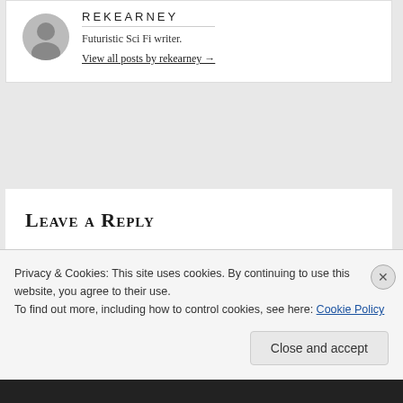[Figure (photo): Circular avatar photo of author rekearney, a man in a grey-toned portrait.]
REKEARNEY
Futuristic Sci Fi writer.
View all posts by rekearney →
Leave a Reply
Your email address will not be published. Required fields are marked *
Privacy & Cookies: This site uses cookies. By continuing to use this website, you agree to their use.
To find out more, including how to control cookies, see here: Cookie Policy
Close and accept